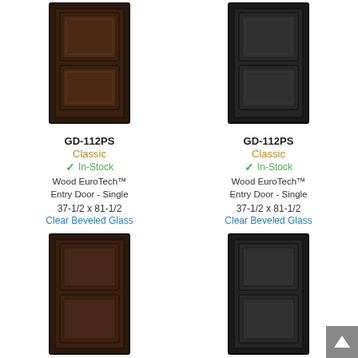[Figure (photo): Dark brown wooden entry door with upper raised panel and lower raised panel, style GD-112PS, left column]
GD-112PS
Classic
In-Stock
Wood EuroTech™ Entry Door - Single
37-1/2 x 81-1/2
Clear Beveled Glass
[Figure (photo): Dark brown wooden entry door with upper raised panel and lower raised panel, style GD-112PS, right column]
GD-112PS
Classic
In-Stock
Wood EuroTech™ Entry Door - Single
37-1/2 x 81-1/2
Clear Beveled Glass
[Figure (photo): Dark brown wooden entry door with two flat square panels, style GD-201PS, left column]
GD-201PS
Classic
In-Stock
[Figure (photo): Dark brown wooden entry door with two flat square panels, style GD-201PS, right column]
GD-201PS
Classic
In-Stock